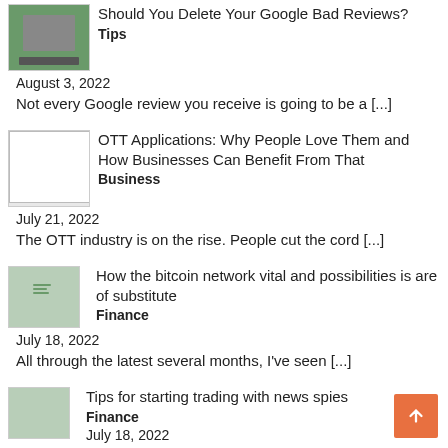[Figure (photo): Laptop thumbnail image with green/dark tones]
Should You Delete Your Google Bad Reviews?
Tips
August 3, 2022
Not every Google review you receive is going to be a [...]
[Figure (photo): Blank white placeholder thumbnail]
OTT Applications: Why People Love Them and How Businesses Can Benefit From That
Business
July 21, 2022
The OTT industry is on the rise. People cut the cord [...]
[Figure (photo): Bitcoin thumbnail image, green tones, alt text: bitcoin]
How the bitcoin network vital and possibilities is are of substitute
Finance
July 18, 2022
All through the latest several months, I've seen [...]
[Figure (photo): Trading thumbnail image, green tones, alt text: Trading]
Tips for starting trading with news spies
Finance
July 18, 2022
It is actually trending and considered everything is [...]